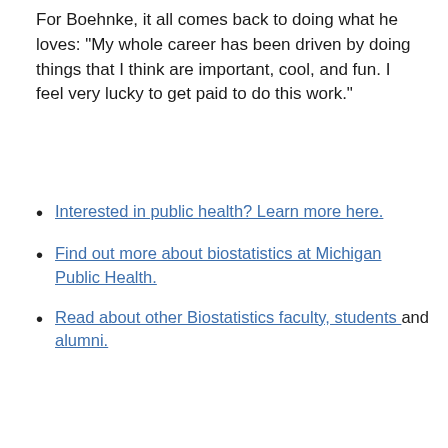For Boehnke, it all comes back to doing what he loves: "My whole career has been driven by doing things that I think are important, cool, and fun. I feel very lucky to get paid to do this work."
Interested in public health? Learn more here.
Find out more about biostatistics at Michigan Public Health.
Read about other Biostatistics faculty, students and alumni.
TAGS
Biostatistics  Faculty  PhD  Chronic Disease  Diabetes  Genetics  Mentorship  Precision Health